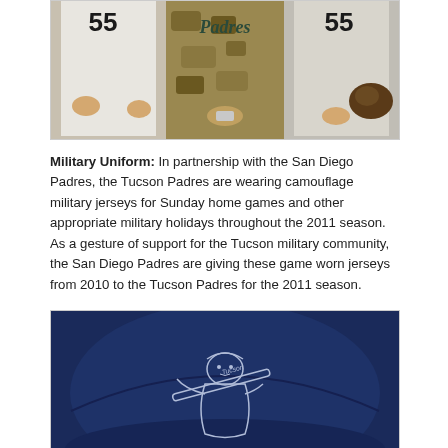[Figure (photo): Three baseball players in uniforms, the left and right wearing gray/white jerseys with number 55, the center person wearing a camouflage military-style San Diego Padres jersey. The right player holds a baseball glove.]
Military Uniform: In partnership with the San Diego Padres, the Tucson Padres are wearing camouflage military jerseys for Sunday home games and other appropriate military holidays throughout the 2011 season. As a gesture of support for the Tucson military community, the San Diego Padres are giving these game worn jerseys from 2010 to the Tucson Padres for the 2011 season.
[Figure (illustration): A navy blue baseball cap illustration featuring the Tucson Padres Friar mascot logo — a cartoon friar swinging a baseball bat with 'Tucson' written on the bat, rendered in white/light blue outline on the dark navy cap.]